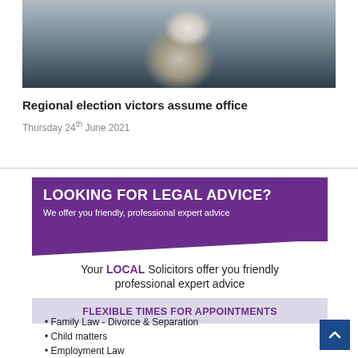[Figure (photo): Person holding a white fluffy dog/animal, photographed outdoors with a dark background]
Regional election victors assume office
Thursday 24th June 2021
[Figure (infographic): Legal services advertisement banner: LOOKING FOR LEGAL ADVICE? We offer you friendly, professional expert advice. Your LOCAL Solicitors offer you friendly professional expert advice. FLEXIBLE TIMES FOR APPOINTMENTS. Family Law - Divorce & Separation, Child matters, Employment Law]
Family Law - Divorce & Separation
Child matters
Employment Law